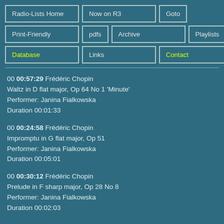Radio-Lists Home | Now on R3 | Goto | Print-Friendly | pdfs | Archive | Playlists | Database | Links | Contact
00 00:57:29 Frédéric Chopin
Waltz in D flat major, Op 64 No 1 'Minute'
Performer: Janina Fialkowska
Duration 00:01:33
00 00:24:58 Frédéric Chopin
Impromptu in G flat major, Op 51
Performer: Janina Fialkowska
Duration 00:05:01
00 00:30:12 Frédéric Chopin
Prelude in F sharp major, Op 28 No 8
Performer: Janina Fialkowska
Duration 00:02:03